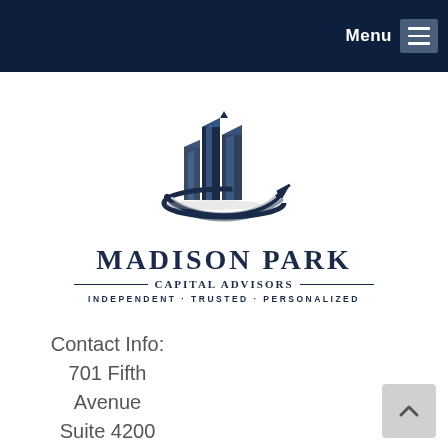Menu
[Figure (logo): Madison Park Capital Advisors logo with stylized blue skyscraper buildings and a swoosh arrow, text reading MADISON PARK CAPITAL ADVISORS INDEPENDENT·TRUSTED·PERSONALIZED]
Contact Info:
701 Fifth Avenue
Suite 4200
Seattle, WA
98104